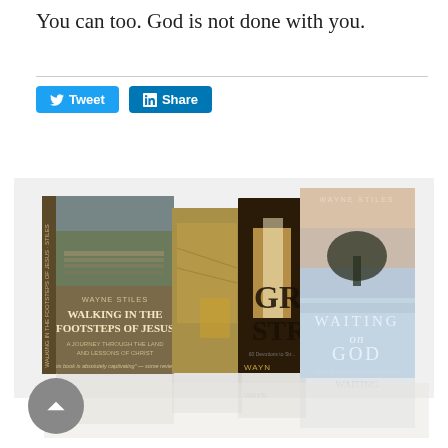You can too. God is not done with you.
[Figure (screenshot): Social sharing buttons: Tweet (Twitter/blue) and Share (LinkedIn/blue)]
[Figure (photo): A collection of books by Wayne Stiles including 'Walking in the Footsteps of Jesus' and 'Waiting on God', displayed standing upright with reflections below.]